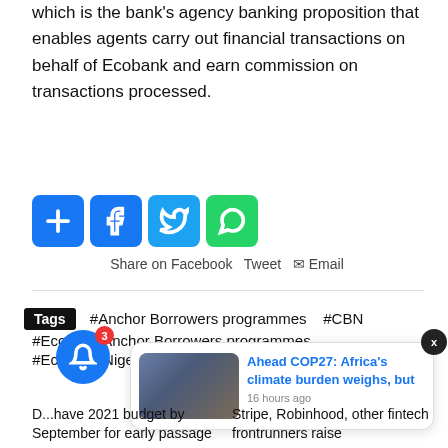which is the bank's agency banking proposition that enables agents carry out financial transactions on behalf of Ecobank and earn commission on transactions processed.
[Figure (infographic): Social share buttons: add/share (blue +), Facebook (blue f), Twitter (blue bird), WhatsApp (green phone). Below: Share on Facebook  Tweet  Email]
Tags  #Anchor Borrowers programmes  #CBN  #Ecobank Anchor Borrowers programmes  #Ecobank Nigeria
[Figure (infographic): Notification bell icon with red badge showing 3, and a popup card with image and text: Ahead COP27: Africa's climate burden weighs, but — 16 hours ago, with X close button]
D...have 2021 budget by September for early passage
Stripe, Robinhood, other fintech frontrunners raise